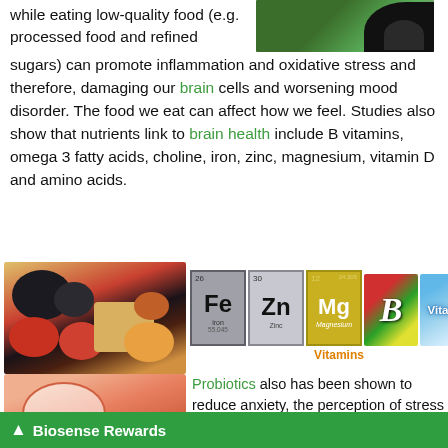while eating low-quality food (e.g. processed food and refined sugars) can promote inflammation and oxidative stress and therefore, damaging our brain cells and worsening mood disorder. The food we eat can affect how we feel. Studies also show that nutrients link to brain health include B vitamins, omega 3 fatty acids, choline, iron, zinc, magnesium, vitamin D and amino acids.
[Figure (photo): Photo of various healthy foods including avocado, nuts, tomatoes, and other colorful vegetables]
[Figure (infographic): Periodic table element icons for Fe (iron, 26), Zn (zinc, 30), Mg (magnesium, 12), B vitamins colorful icon, and Vitamin D blue sky icon, with 'Vitamins' label in orange]
[Figure (illustration): Illustration of the human gut/digestive system with magnified view showing orange probiotic bacteria]
Probiotics also has been shown to reduce anxiety, the perception of stress and mental outlook. Mediterranean and Japanese diet contains the higher portion of vegetables, fruits, unprocessed grains, and seafood. These diets are found to have a lower
Biosense Rewards